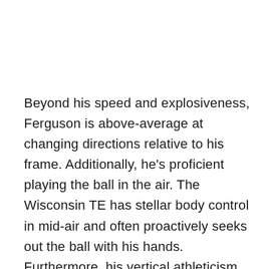Beyond his speed and explosiveness, Ferguson is above-average at changing directions relative to his frame. Additionally, he's proficient playing the ball in the air. The Wisconsin TE has stellar body control in mid-air and often proactively seeks out the ball with his hands. Furthermore, his vertical athleticism and smoothness allow him to rise and high-point passes in stride.